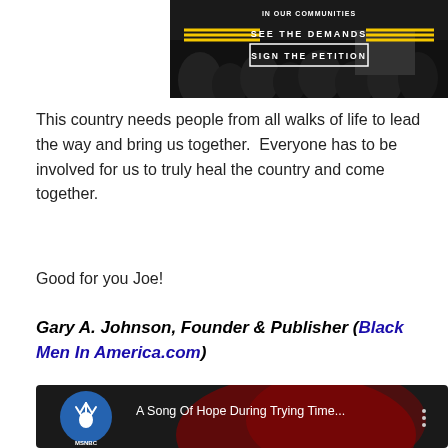[Figure (screenshot): Protest/activism banner image showing crowd with signs. Text reads 'IN OUR COMMUNITIES', 'SEE THE DEMANDS' with yellow lines, and 'SIGN THE PETITION' in a white box.]
This country needs people from all walks of life to lead the way and bring us together.  Everyone has to be involved for us to truly heal the country and come together.
Good for you Joe!
Gary A. Johnson, Founder & Publisher (Black Men In America.com)
[Figure (screenshot): MSNBC video thumbnail with peacock logo and text 'A Song Of Hope During Trying Time...' with a three-dot menu icon.]